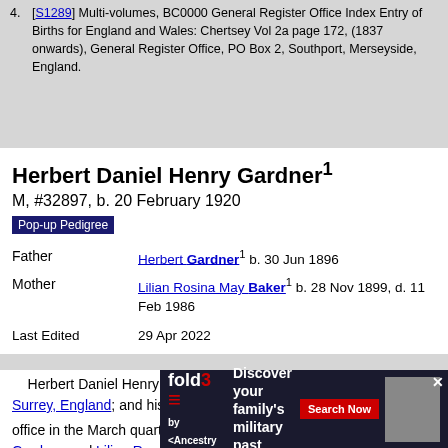4. [S1289] Multi-volumes, BC0000 General Register Office Index Entry of Births for England and Wales: Chertsey Vol 2a page 172, (1837 onwards), General Register Office, PO Box 2, Southport, Merseyside, England.
Herbert Daniel Henry Gardner¹
M, #32897, b. 20 February 1920
Pop-up Pedigree
| Father | Herbert Gardner¹ b. 30 Jun 1896 |
| Mother | Lilian Rosina May Baker¹ b. 28 Nov 1899, d. 11 Feb 1986 |
| Last Edited | 29 Apr 2022 |
Herbert Daniel Henry Gardner was born on 20 February 1920 at Surrey, England; and his birth was recorded at Chertsey registration office in the March quarter 1920.1,2 He was the son of Herbert Gardner and Lilian R…dner lived on…ngton,